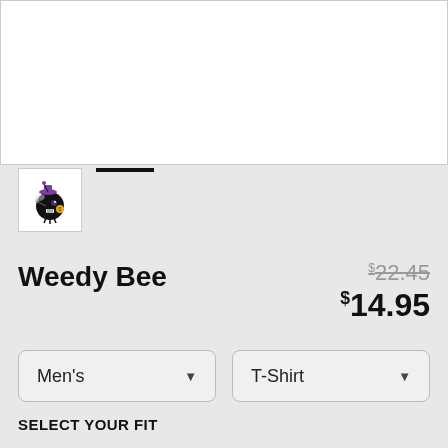[Figure (photo): White product image display area (top, mostly cropped)]
[Figure (illustration): Thumbnail of Weedy Bee cartoon character - a small black round bee with purple hat, sunglasses, smoking, with yellow coin]
Weedy Bee
$22.45 (strikethrough original price) $14.95 (sale price)
Men's (dropdown)
T-Shirt (dropdown)
SELECT YOUR FIT